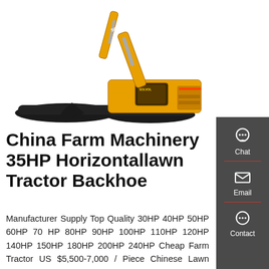[Figure (photo): Yellow SOLVOL branded excavator/backhoe on white background, showing the full machine with arm extended, tracked undercarriage, and operator cab.]
China Farm Machinery 35HP Horizontallawn Tractor Backhoe
Manufacturer Supply Top Quality 30HP 40HP 50HP 60HP 70 HP 80HP 90HP 100HP 110HP 120HP 140HP 150HP 180HP 200HP 240HP Cheap Farm Tractor US $5,500-7,000 / Piece Chinese Lawn Mower Cheap Price 4X4 Mini Small Compact